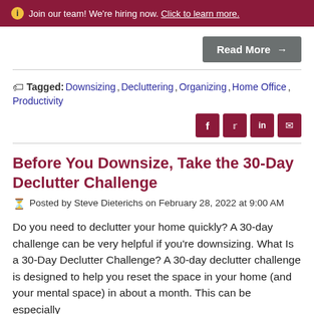ℹ Join our team! We're hiring now. Click to learn more.
Read More →
Tagged: Downsizing, Decluttering, Organizing, Home Office, Productivity
Before You Downsize, Take the 30-Day Declutter Challenge
Posted by Steve Dieterichs on February 28, 2022 at 9:00 AM
Do you need to declutter your home quickly? A 30-day challenge can be very helpful if you're downsizing. What Is a 30-Day Declutter Challenge? A 30-day declutter challenge is designed to help you reset the space in your home (and your mental space) in about a month. This can be especially